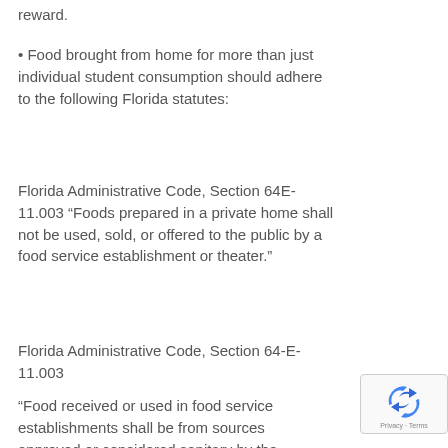reward.
• Food brought from home for more than just individual student consumption should adhere to the following Florida statutes:
Florida Administrative Code, Section 64E-11.003 “Foods prepared in a private home shall not be used, sold, or offered to the public by a food service establishment or theater.”
Florida Administrative Code, Section 64-E-11.003
“Food received or used in food service establishments shall be from sources approved or considered sanitary by the